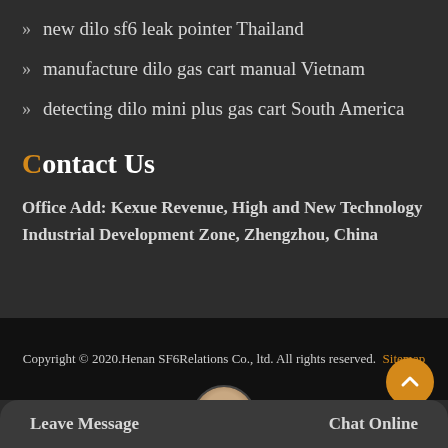new dilo sf6 leak pointer Thailand
manufacture dilo gas cart manual Vietnam
detecting dilo mini plus gas cart South America
Contact Us
Office Add: Kexue Revenue, High and New Technology Industrial Development Zone, Zhengzhou, China
Copyright © 2020.Henan SF6Relations Co., ltd. All rights reserved. Sitemap
Leave Message
Chat Online